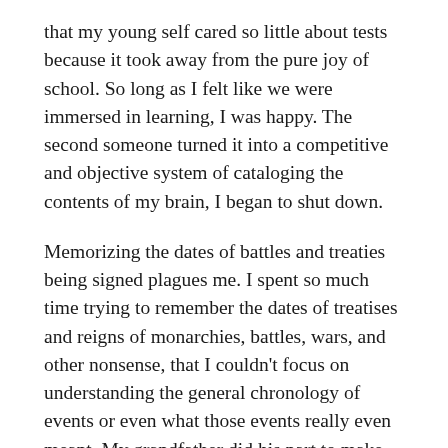that my young self cared so little about tests because it took away from the pure joy of school. So long as I felt like we were immersed in learning, I was happy. The second someone turned it into a competitive and objective system of cataloging the contents of my brain, I began to shut down.
Memorizing the dates of battles and treaties being signed plagues me. I spent so much time trying to remember the dates of treatises and reigns of monarchies, battles, wars, and other nonsense, that I couldn't focus on understanding the general chronology of events or even what those events really even meant. My grandfather did his part to make me feel exceedingly guilty about my ambivalence. I needed to know the date of Pearl Harbor, DDay, the end of the second world war. These were defining moments in American history